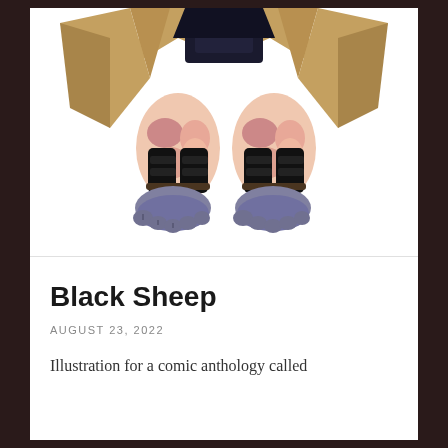[Figure (illustration): Lower body of a fantasy/comic character wearing dark armor over woolly legs with large bare feet with visible toes, and a tan/brown cloak or coat visible at the top. The character appears to be a humanoid sheep or satyr-like creature.]
Black Sheep
AUGUST 23, 2022
Illustration for a comic anthology called